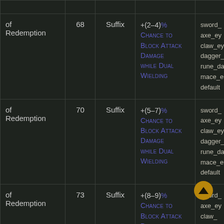| Name | Level | Type | Modifier | Tags |
| --- | --- | --- | --- | --- |
| of Redemption | 68 | Suffix | +(2–4)% Chance to Block Attack Damage while Dual Wielding | sword_
axe_ey
claw_ey
dagger_
rune_da
mace_e
default |
| of Redemption | 70 | Suffix | +(5–7)% Chance to Block Attack Damage while Dual Wielding | sword_
axe_ey
claw_ey
dagger_
rune_da
mace_e
default |
| of Redemption | 73 | Suffix | +(8–9)% Chance to Block Attack Damage while Dual Wielding | sword_
axe_ey
claw_ey
dagger_ |